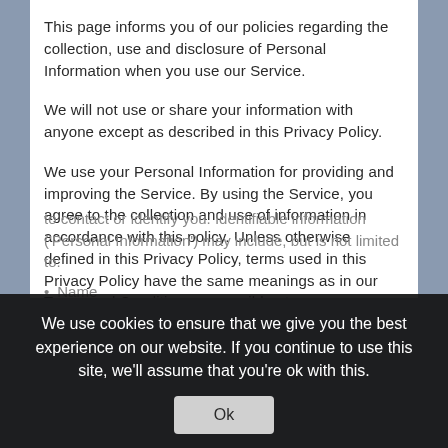This page informs you of our policies regarding the collection, use and disclosure of Personal Information when you use our Service.
We will not use or share your information with anyone except as described in this Privacy Policy.
We use your Personal Information for providing and improving the Service. By using the Service, you agree to the collection and use of information in accordance with this policy. Unless otherwise defined in this Privacy Policy, terms used in this Privacy Policy have the same meanings as in our Terms and Conditions, accessible at https://welovetech.site
Information Collection And Use
to contact or identify you. Identifiable information ('Personal Information') may include, but is not limited to:
Name
We use cookies to ensure that we give you the best experience on our website. If you continue to use this site, we'll assume that you're ok with this.